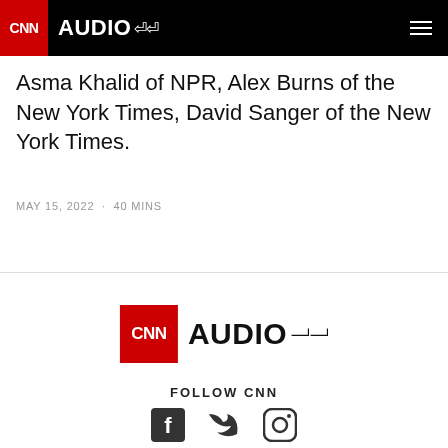CNN AUDIO
Asma Khalid of NPR, Alex Burns of the New York Times, David Sanger of the New York Times.
MAY 15, 2022 · 40 MINS
[Figure (logo): CNN Audio logo - large version in footer]
FOLLOW CNN
[Figure (other): Social media icons: Facebook, Twitter, Instagram]